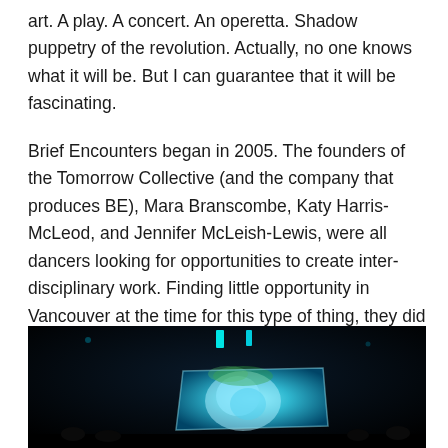art.  A play.  A concert.  An operetta.  Shadow puppetry of the revolution.  Actually, no one knows what it will be.  But I can guarantee that it will be fascinating.
Brief Encounters began in 2005.  The founders of the Tomorrow Collective (and the company that produces BE), Mara Branscombe, Katy Harris-McLeod, and Jennifer McLeish-Lewis, were all dancers looking for opportunities to create inter-disciplinary work.  Finding little opportunity in Vancouver at the time for this type of thing, they did what many Vancouver artists do:  they created the opportunity themselves.
[Figure (photo): Dark performance photo showing an audience in a darkened venue with a glowing blue-green projection screen displaying abstract imagery, possibly jellyfish or organic forms. Cyan/teal colored lighting elements visible at the top.]